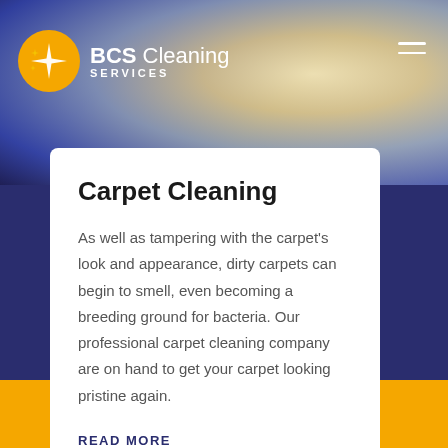[Figure (photo): Hero image showing carpet/sneakers/rug in background with navy overlay]
BCS Cleaning SERVICES
Carpet Cleaning
As well as tampering with the carpet's look and appearance, dirty carpets can begin to smell, even becoming a breeding ground for bacteria. Our professional carpet cleaning company are on hand to get your carpet looking pristine again.
READ MORE
Call Us    Email Us